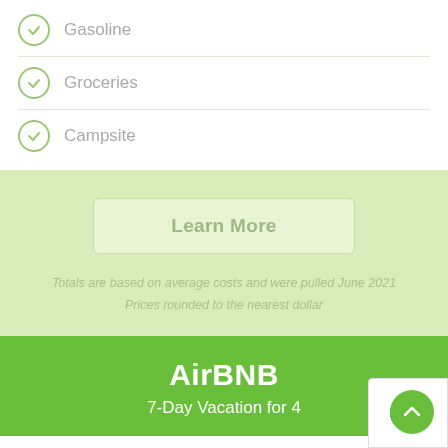Gasoline
Groceries
Campsite
Learn More
Totals are based on average costs and were pulled June 2021
Prices rounded to the nearest dollar
AirBNB
7-Day Vacation for 4